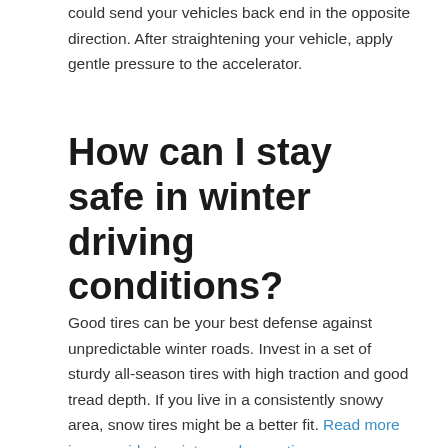could send your vehicles back end in the opposite direction. After straightening your vehicle, apply gentle pressure to the accelerator.
How can I stay safe in winter driving conditions?
Good tires can be your best defense against unpredictable winter roads. Invest in a set of sturdy all-season tires with high traction and good tread depth. If you live in a consistently snowy area, snow tires might be a better fit. Read more in our guide to winter and snow tires